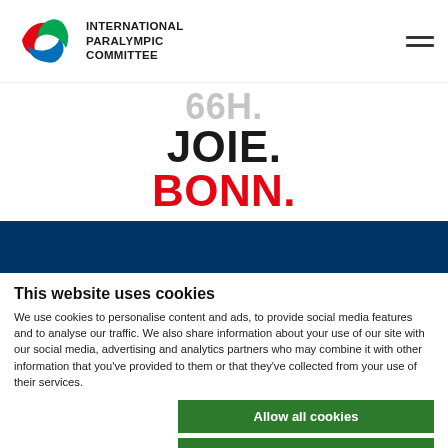[Figure (logo): International Paralympic Committee logo with agitos symbol (red, blue, green curved swooshes) and text INTERNATIONAL PARALYMPIC COMMITTEE]
[Figure (illustration): Partial text showing 'JOIE.' in black bold and 'BONN.' in red bold, large headline style]
[Figure (other): Dark navy blue horizontal banner bar]
This website uses cookies
We use cookies to personalise content and ads, to provide social media features and to analyse our traffic. We also share information about your use of our site with our social media, advertising and analytics partners who may combine it with other information that you've provided to them or that they've collected from your use of their services.
Allow all cookies
Allow selection
Use necessary cookies
duerdilee 212-214, 53113 Bonn, Germany  Show details